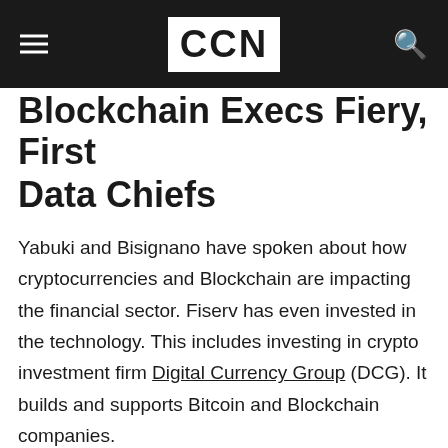CCN
Blockchain Execs Fiery, First Data Chiefs
Yabuki and Bisignano have spoken about how cryptocurrencies and Blockchain are impacting the financial sector. Fiserv has even invested in the technology. This includes investing in crypto investment firm Digital Currency Group (DCG). It builds and supports Bitcoin and Blockchain companies.
By using CCN.com you consent to our privacy & cookie policy.
Continue